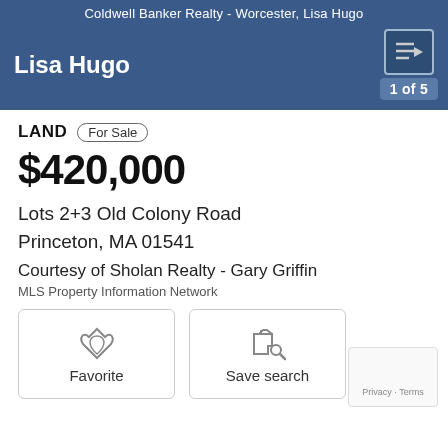Coldwell Banker Realty - Worcester, Lisa Hugo
Lisa Hugo
LAND  For Sale
$420,000
Lots 2+3 Old Colony Road
Princeton, MA 01541
Courtesy of Sholan Realty - Gary Griffin
MLS Property Information Network
Favorite
Save search